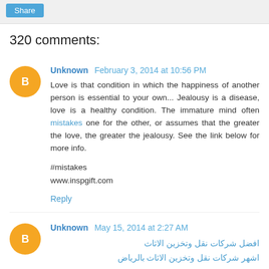Share
320 comments:
Unknown  February 3, 2014 at 10:56 PM
Love is that condition in which the happiness of another person is essential to your own... Jealousy is a disease, love is a healthy condition. The immature mind often mistakes one for the other, or assumes that the greater the love, the greater the jealousy. See the link below for more info.

#mistakes
www.inspgift.com
Reply
Unknown  May 15, 2014 at 2:27 AM
افضل شركات نقل وتخزين الاثاث
aشهر شركات نقل وتخزين الاثاث بالرياض